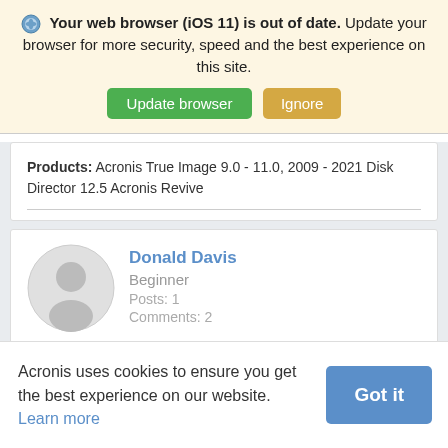Your web browser (iOS 11) is out of date. Update your browser for more security, speed and the best experience on this site.
Update browser | Ignore
Products: Acronis True Image 9.0 - 11.0, 2009 - 2021 Disk Director 12.5 Acronis Revive
Donald Davis
Beginner
Posts: 1
Comments: 2
Acronis uses cookies to ensure you get the best experience on our website. Learn more